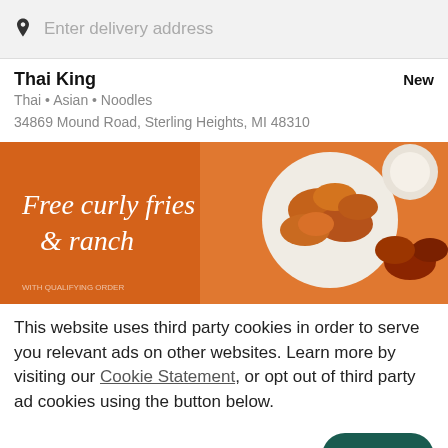Enter delivery address
Thai King
New
Thai • Asian • Noodles
34869 Mound Road, Sterling Heights, MI 48310
[Figure (photo): Promotional banner with orange background showing fried chicken wings on a plate and text 'Free curly fries & ranch']
This website uses third party cookies in order to serve you relevant ads on other websites. Learn more by visiting our Cookie Statement, or opt out of third party ad cookies using the button below.
OPT OUT
GOT IT